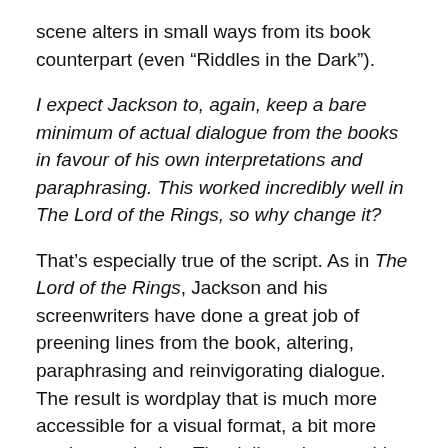scene alters in small ways from its book counterpart (even “Riddles in the Dark”).
I expect Jackson to, again, keep a bare minimum of actual dialogue from the books in favour of his own interpretations and paraphrasing. This worked incredibly well in The Lord of the Rings, so why change it?
That’s especially true of the script. As in The Lord of the Rings, Jackson and his screenwriters have done a great job of preening lines from the book, altering, paraphrasing and reinvigorating dialogue. The result is wordplay that is much more accessible for a visual format, a bit more modern and crisp. The delivery is everything of course, but the script is good enough to help with that process. There isn't any line that I would consider jarring or out of place, and as mentioned there are several scenes where the